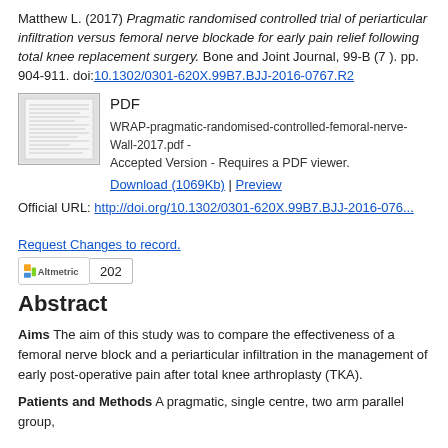Matthew L. (2017) Pragmatic randomised controlled trial of periarticular infiltration versus femoral nerve blockade for early pain relief following total knee replacement surgery. Bone and Joint Journal, 99-B (7 ). pp. 904-911. doi:10.1302/0301-620X.99B7.BJJ-2016-0767.R2
[Figure (other): Thumbnail image of a PDF document page]
PDF
WRAP-pragmatic-randomised-controlled-femoral-nerve-Wall-2017.pdf - Accepted Version - Requires a PDF viewer.
Download (1069Kb) | Preview
Official URL: http://doi.org/10.1302/0301-620X.99B7.BJJ-2016-076...
Request Changes to record.
202
Abstract
Aims The aim of this study was to compare the effectiveness of a femoral nerve block and a periarticular infiltration in the management of early post-operative pain after total knee arthroplasty (TKA).
Patients and Methods A pragmatic, single centre, two arm parallel group,